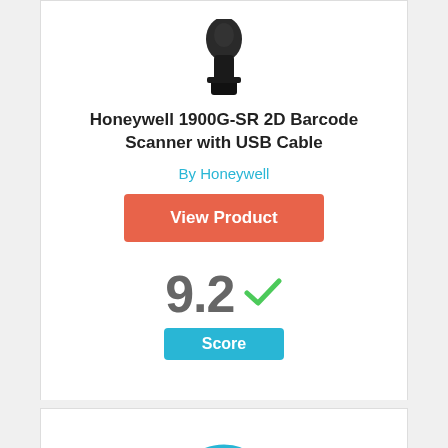[Figure (photo): Honeywell 1900G-SR 2D Barcode Scanner product image (top portion visible)]
Honeywell 1900G-SR 2D Barcode Scanner with USB Cable
By Honeywell
View Product
9.2 Score
[Figure (infographic): Circle badge with number 5 inside, outlined in blue]